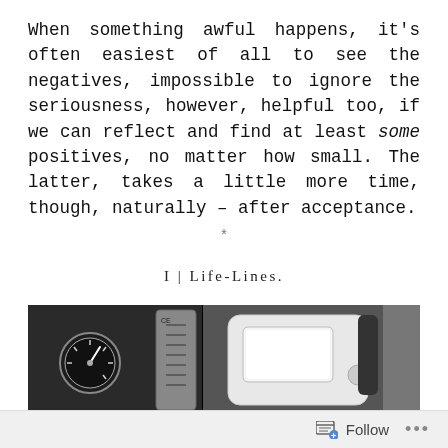When something awful happens, it's often easiest of all to see the negatives, impossible to ignore the seriousness, however, helpful too, if we can reflect and find at least some positives, no matter how small. The latter, takes a little more time, though, naturally – after acceptance.
*
I | LIFE-LINES.
[Figure (photo): Black and white photograph showing medical equipment including a pressure gauge, a cylindrical tank with measurement markings, and a white medical device (possibly a monitor or infusion pump) in the foreground.]
Follow ...